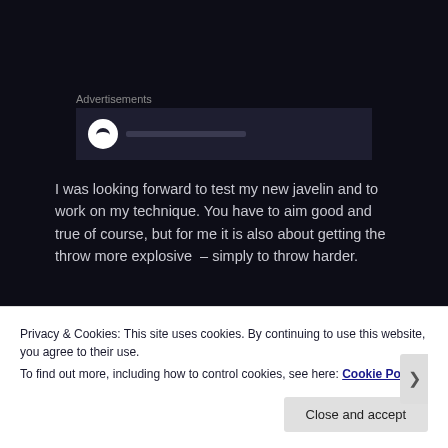Advertisements
[Figure (screenshot): Advertisement box with dark background showing a partial logo/icon]
I was looking forward to test my new javelin and to work on my technique. You have to aim good and true of course, but for me it is also about getting the throw more explosive  – simply to throw harder.
Today we used two targets for our practise, one of them moving – a piece of a tree trunk suspended in the height
Privacy & Cookies: This site uses cookies. By continuing to use this website, you agree to their use.
To find out more, including how to control cookies, see here: Cookie Policy